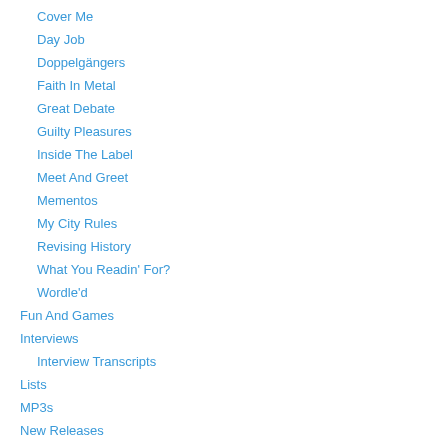Cover Me
Day Job
Doppelgängers
Faith In Metal
Great Debate
Guilty Pleasures
Inside The Label
Meet And Greet
Mementos
My City Rules
Revising History
What You Readin' For?
Wordle'd
Fun And Games
Interviews
Interview Transcripts
Lists
MP3s
New Releases
Latest New Releases Schedule